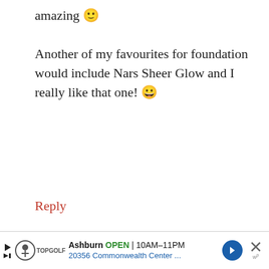amazing 🙂 Another of my favourites for foundation would include Nars Sheer Glow and I really like that one! 😀
Reply
Paris B says
June 15, 2014 at 10:59 am
Yay! Glad you like the Bourjois Healthy Mix Serum too. The coverage surprises
Ashburn OPEN 10AM–11PM 20356 Commonwealth Center ...